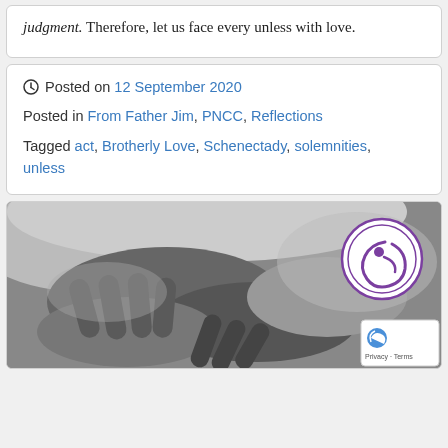judgment. Therefore, let us face every unless with love.
Posted on 12 September 2020
Posted in From Father Jim, PNCC, Reflections
Tagged act, Brotherly Love, Schenectady, solemnities, unless
[Figure (photo): Black and white close-up photo of hands clasped together, with a circular purple PNCC logo watermark in the upper right area.]